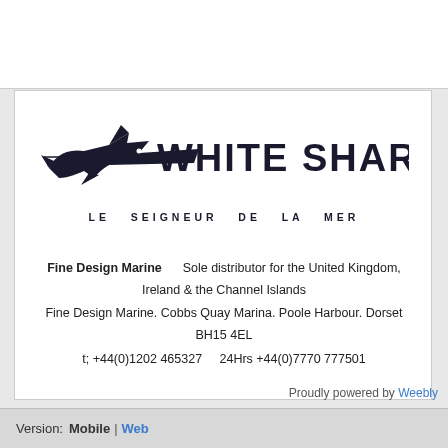[Figure (logo): White Shark logo with shark graphic and text 'WHITE SHARK' and tagline 'LE SEIGNEUR DE LA MER']
Fine Design Marine    Sole distributor for the United Kingdom, Ireland & the Channel Islands
Fine Design Marine. Cobbs Quay Marina. Poole Harbour. Dorset BH15 4EL
t; +44(0)1202 465327    24Hrs +44(0)7770 777501
Proudly powered by Weebly
Version:  Mobile | Web